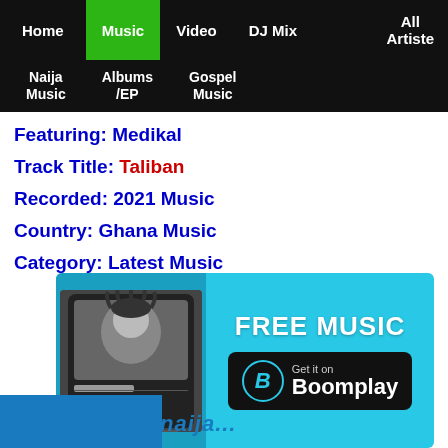Home | Music | Video | DJ Mix | All Artiste | Naija Music | Albums /EP | Gospel Music
Featuring: Medikal
Track Title: Taliban
Recorded: 2021 Music
Country: Ghana Music
Category: Latest Music
[Figure (screenshot): Boomplay ad banner showing FREE MUSIC Get it on Boomplay with a music player screenshot on the left]